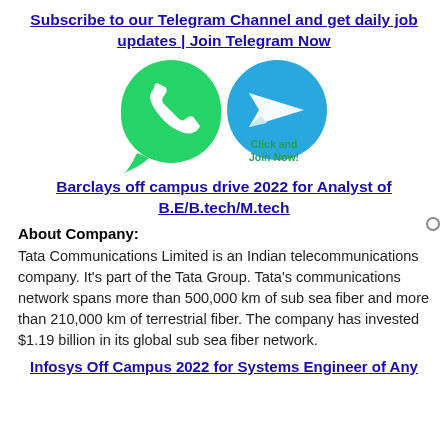Subscribe to our Telegram Channel and get daily job updates | Join Telegram Now
[Figure (illustration): WhatsApp and Telegram app icons side by side. Green WhatsApp bubble with phone icon on left, blue Telegram circle with paper plane icon on right, with text 'Click and Join Now!' in green.]
Barclays off campus drive 2022 for Analyst of B.E/B.tech/M.tech
About Company:
Tata Communications Limited is an Indian telecommunications company. It's part of the Tata Group. Tata's communications network spans more than 500,000 km of sub sea fiber and more than 210,000 km of terrestrial fiber. The company has invested $1.19 billion in its global sub sea fiber network.
Infosys Off Campus 2022 for Systems Engineer of Any